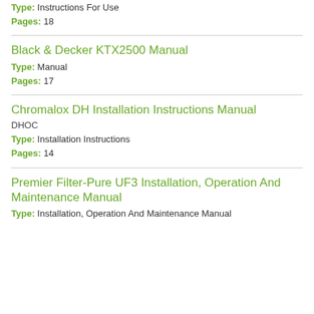Type: Instructions For Use
Pages: 18
Black & Decker KTX2500 Manual
Type: Manual
Pages: 17
Chromalox DH Installation Instructions Manual
DHOC
Type: Installation Instructions
Pages: 14
Premier Filter-Pure UF3 Installation, Operation And Maintenance Manual
Type: Installation, Operation And Maintenance Manual